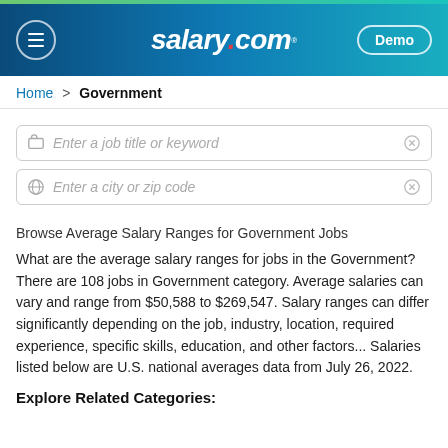salary.com — Demo
Home > Government
Enter a job title or keyword
Enter a city or zip code
Browse Average Salary Ranges for Government Jobs
What are the average salary ranges for jobs in the Government? There are 108 jobs in Government category. Average salaries can vary and range from $50,588 to $269,547. Salary ranges can differ significantly depending on the job, industry, location, required experience, specific skills, education, and other factors... Salaries listed below are U.S. national averages data from July 26, 2022.
Explore Related Categories: